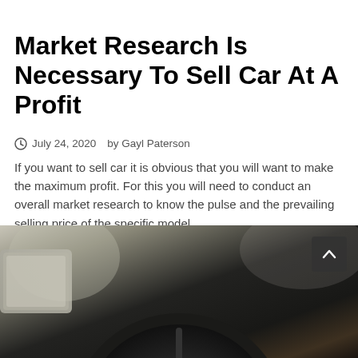Market Research Is Necessary To Sell Car At A Profit
July 24, 2020   by Gayl Paterson
If you want to sell car it is obvious that you will want to make the maximum profit. For this you will need to conduct an overall market research to know the pulse and the prevailing selling price of the specific model…
Comments Off   Continue Reading →
[Figure (photo): A close-up photograph of a person's hands wearing driving gloves gripping a steering wheel inside a car, with a side mirror visible on the left and blurred background.]